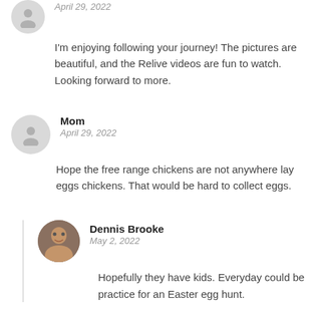April 29, 2022
I'm enjoying following your journey! The pictures are beautiful, and the Relive videos are fun to watch. Looking forward to more.
Mom
April 29, 2022
Hope the free range chickens are not anywhere lay eggs chickens. That would be hard to collect eggs.
Dennis Brooke
May 2, 2022
Hopefully they have kids. Everyday could be practice for an Easter egg hunt.